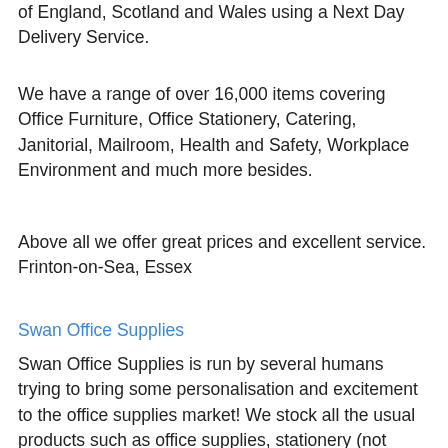of England, Scotland and Wales using a Next Day Delivery Service.
We have a range of over 16,000 items covering Office Furniture, Office Stationery, Catering, Janitorial, Mailroom, Health and Safety, Workplace Environment and much more besides.
Above all we offer great prices and excellent service. Frinton-on-Sea, Essex
Swan Office Supplies
Swan Office Supplies is run by several humans trying to bring some personalisation and excitement to the office supplies market! We stock all the usual products such as office supplies, stationery (not stationary!), ink